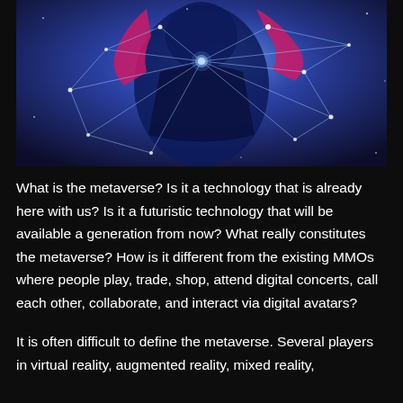[Figure (photo): A digital avatar or person rendered in blue and purple tones with pink accents, surrounded by a glowing network of connected points and lines against a deep blue/purple background — representing the metaverse or virtual reality concept.]
What is the metaverse? Is it a technology that is already here with us? Is it a futuristic technology that will be available a generation from now? What really constitutes the metaverse? How is it different from the existing MMOs where people play, trade, shop, attend digital concerts, call each other, collaborate, and interact via digital avatars?
It is often difficult to define the metaverse. Several players in virtual reality, augmented reality, mixed reality,